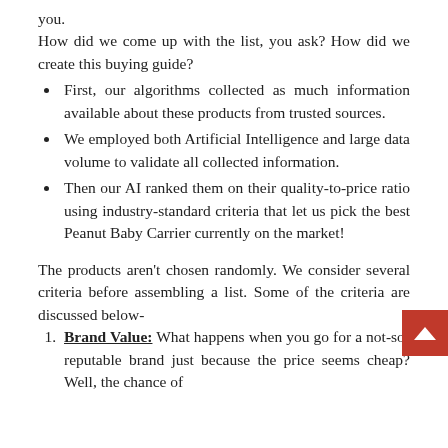you.
How did we come up with the list, you ask? How did we create this buying guide?
First, our algorithms collected as much information available about these products from trusted sources.
We employed both Artificial Intelligence and large data volume to validate all collected information.
Then our AI ranked them on their quality-to-price ratio using industry-standard criteria that let us pick the best Peanut Baby Carrier currently on the market!
The products aren't chosen randomly. We consider several criteria before assembling a list. Some of the criteria are discussed below-
Brand Value: What happens when you go for a not-so-reputable brand just because the price seems cheap? Well, the chance of